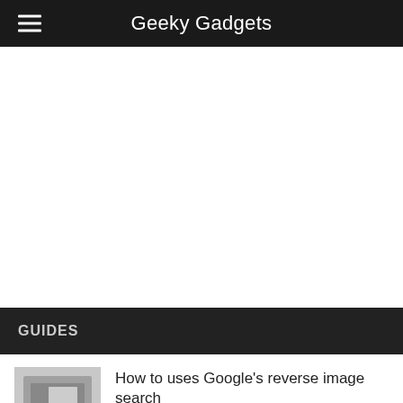Geeky Gadgets
[Figure (other): Advertisement / blank white area]
GUIDES
[Figure (photo): Thumbnail image of a person at a laptop]
How to uses Google's reverse image search